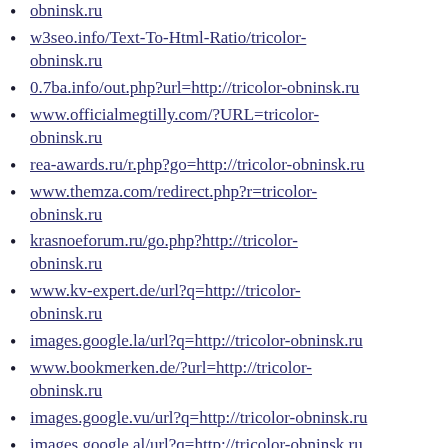…/tricolor-obninsk.ru (partial, top of page)
w3seo.info/Text-To-Html-Ratio/tricolor-obninsk.ru
0.7ba.info/out.php?url=http://tricolor-obninsk.ru
www.officialmegtilly.com/?URL=tricolor-obninsk.ru
rea-awards.ru/r.php?go=http://tricolor-obninsk.ru
www.themza.com/redirect.php?r=tricolor-obninsk.ru
krasnoeforum.ru/go.php?http://tricolor-obninsk.ru
www.kv-expert.de/url?q=http://tricolor-obninsk.ru
images.google.la/url?q=http://tricolor-obninsk.ru
www.bookmerken.de/?url=http://tricolor-obninsk.ru
images.google.vu/url?q=http://tricolor-obninsk.ru
images.google.al/url?q=http://tricolor-obninsk.ru
images.google…/url?q=http://tricolor-obninsk.ru (partial, bottom)